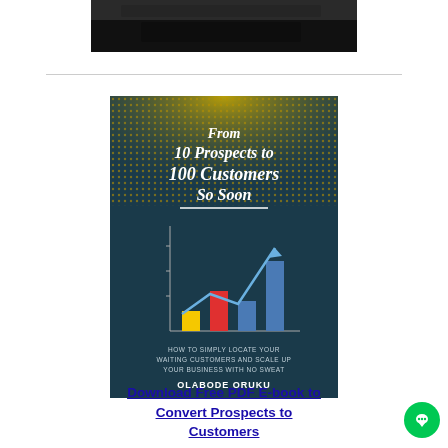[Figure (photo): Dark colored tablet or book object at the top of the page]
[Figure (illustration): Book cover: 'From 10 Prospects to 100 Customers So Soon' by Olabode Oruku. Dark teal background with yellow dotted gradient top. Shows a bar chart with yellow, red, and blue bars and an upward arrow. Subtitle: HOW TO SIMPLY LOCATE YOUR WAITING CUSTOMERS AND SCALE UP YOUR BUSINESS WITH NO SWEAT]
Download Free PDF E-book to Convert Prospects to Customers